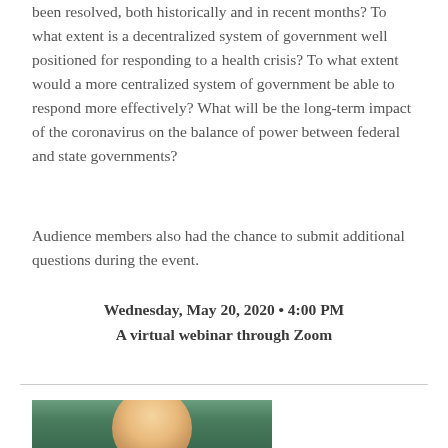been resolved, both historically and in recent months? To what extent is a decentralized system of government well positioned for responding to a health crisis? To what extent would a more centralized system of government be able to respond more effectively? What will be the long-term impact of the coronavirus on the balance of power between federal and state governments?
Audience members also had the chance to submit additional questions during the event.
Wednesday, May 20, 2020 • 4:00 PM
A virtual webinar through Zoom
[Figure (photo): Partial view of a person's head/face photograph with green background, cropped at bottom of page]